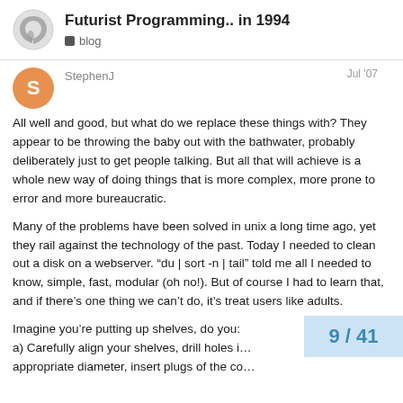Futurist Programming.. in 1994 | blog
StephenJ  Jul '07
All well and good, but what do we replace these things with? They appear to be throwing the baby out with the bathwater, probably deliberately just to get people talking. But all that will achieve is a whole new way of doing things that is more complex, more prone to error and more bureaucratic.
Many of the problems have been solved in unix a long time ago, yet they rail against the technology of the past. Today I needed to clean out a disk on a webserver. “du | sort -n | tail” told me all I needed to know, simple, fast, modular (oh no!). But of course I had to learn that, and if there’s one thing we can’t do, it’s treat users like adults.
Imagine you’re putting up shelves, do you:
a) Carefully align your shelves, drill holes i… appropriate diameter, insert plugs of the co… ding …
9 / 41